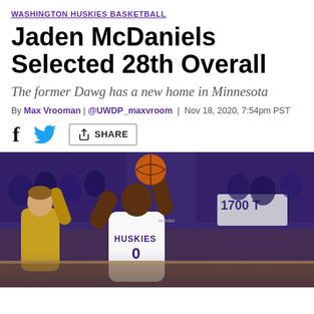WASHINGTON HUSKIES BASKETBALL
Jaden McDaniels Selected 28th Overall
The former Dawg has a new home in Minnesota
By Max Vrooman | @UWDP_maxvroom | Nov 18, 2020, 7:54pm PST
[Figure (other): Social share buttons: Facebook, Twitter, and Share]
[Figure (photo): Jaden McDaniels in a Washington Huskies uniform (#0) shooting a basketball over a defender during a game]